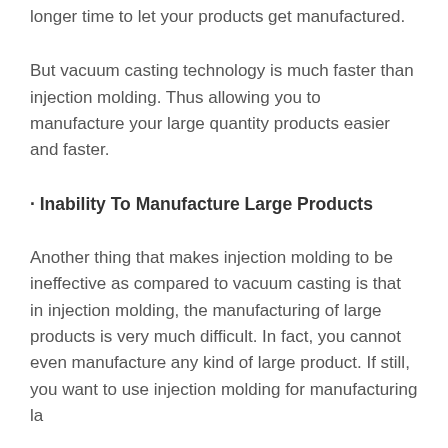longer time to let your products get manufactured.
But vacuum casting technology is much faster than injection molding. Thus allowing you to manufacture your large quantity products easier and faster.
· Inability To Manufacture Large Products
Another thing that makes injection molding to be ineffective as compared to vacuum casting is that in injection molding, the manufacturing of large products is very much difficult. In fact, you cannot even manufacture any kind of large product. If still, you want to use injection molding for manufacturing large...